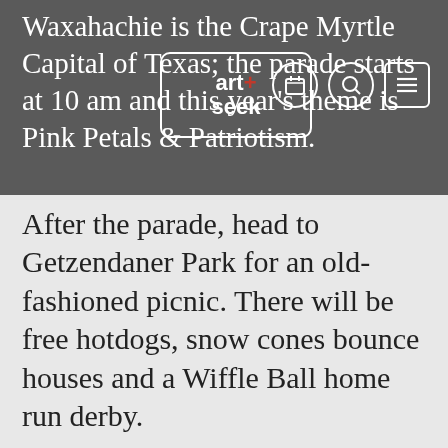Waxahachie is the Crape Myrtle Capital of Texas; the parade starts at 10 am and this year's theme is Pink Petals & Patriotism.
[Figure (logo): art+seek logo in white rounded rectangle box]
After the parade, head to Getzendaner Park for an old-fashioned picnic. There will be free hotdogs, snow cones bounce houses and a Wiffle Ball home run derby.
Like your celebrations a little bigger? Check out Irving's Independence Day Parade & Reception. Start the day with the city's community award-winning parade which features floats, costumes, and custom vehicles. After the parade, cool off at the free watermelon reception and concert at Heritage